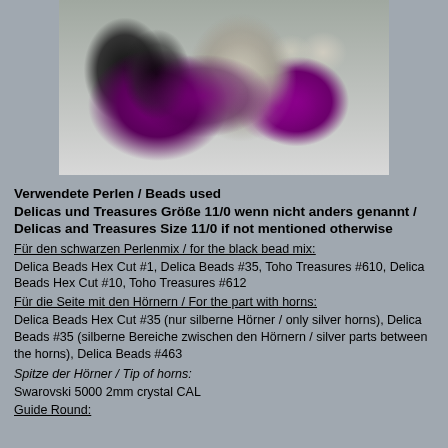[Figure (photo): A beaded decorative object with purple, black, silver/cream colors showing a twisted or coiled bead-woven piece with horn-like protrusions, photographed on a white background.]
Verwendete Perlen / Beads used
Delicas und Treasures Größe 11/0 wenn nicht anders genannt / Delicas and Treasures Size 11/0 if not mentioned otherwise
Für den schwarzen Perlenmix / for the black bead mix:
Delica Beads Hex Cut #1, Delica Beads #35, Toho Treasures #610, Delica Beads Hex Cut #10, Toho Treasures #612
Für die Seite mit den Hörnern / For the part with horns:
Delica Beads Hex Cut #35 (nur silberne Hörner / only silver horns), Delica Beads #35 (silberne Bereiche zwischen den Hörnern / silver parts between the horns), Delica Beads #463
Spitze der Hörner / Tip of horns:
Swarovski 5000 2mm crystal CAL
Guide Round: